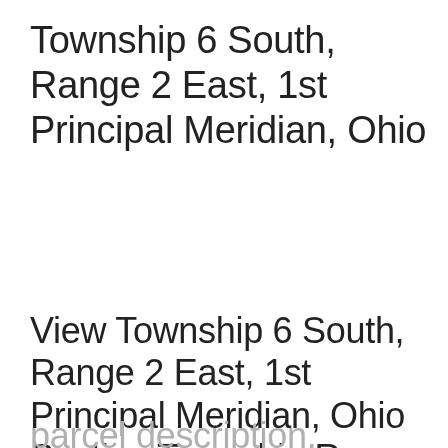Township 6 South, Range 2 East, 1st Principal Meridian, Ohio
View Township 6 South, Range 2 East, 1st Principal Meridian, Ohio Section Township Range map on Google Maps • Free township and range locator searches by address, place or reverse find by land parcel description.